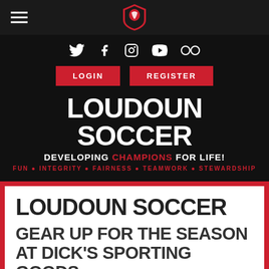[Figure (logo): Loudoun Soccer shield logo in navigation bar]
[Figure (infographic): Social media icons: Twitter, Facebook, Instagram, YouTube, Flickr]
LOGIN    REGISTER
LOUDOUN SOCCER
DEVELOPING CHAMPIONS FOR LIFE!
FUN • INTEGRITY • FAIRNESS • TEAMWORK • STEWARDSHIP
LOUDOUN SOCCER
GEAR UP FOR THE SEASON AT DICK'S SPORTING GOODS